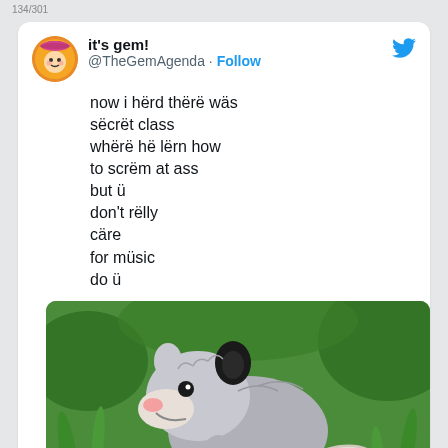134/301
it's gem!
@TheGemAgenda · Follow
now i hërd thërë wäs
sëcrët class
whërë hë lërn how
to scrëm at ass
but ü
don't rëlly
cäre
for müsic
do ü
[Figure (photo): Photo of a young opossum with gray and white fur, pink nose, open mouth showing teeth, sitting in green grass and clover]